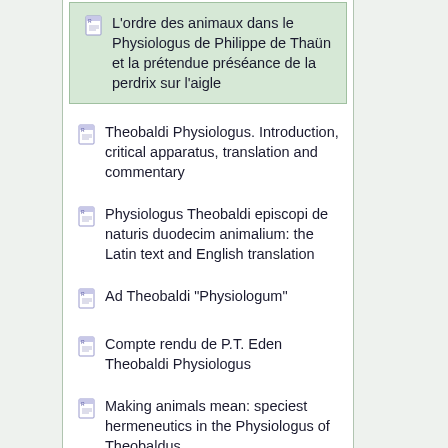L'ordre des animaux dans le Physiologus de Philippe de Thaün et la prétendue préséance de la perdrix sur l'aigle
Theobaldi Physiologus. Introduction, critical apparatus, translation and commentary
Physiologus Theobaldi episcopi de naturis duodecim animalium: the Latin text and English translation
Ad Theobaldi "Physiologum"
Compte rendu de P.T. Eden Theobaldi Physiologus
Making animals mean: speciest hermeneutics in the Physiologus of Theobaldus